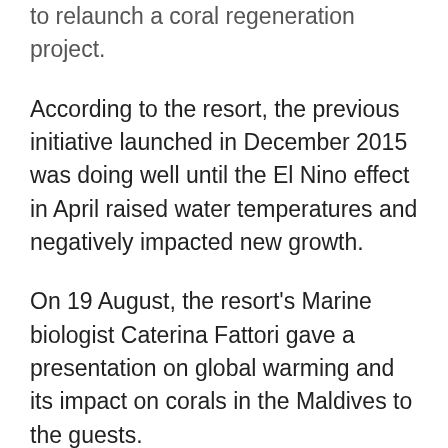to relaunch a coral regeneration project.
According to the resort, the previous initiative launched in December 2015 was doing well until the El Nino effect in April raised water temperatures and negatively impacted new growth.
On 19 August, the resort's Marine biologist Caterina Fattori gave a presentation on global warming and its impact on corals in the Maldives to the guests.
“The next day, guests joined Ms Fattori to connect living coral fragments that had been displaced by waves to coconut ropes. They were then attached on laces to metal frames in two areas at about 7